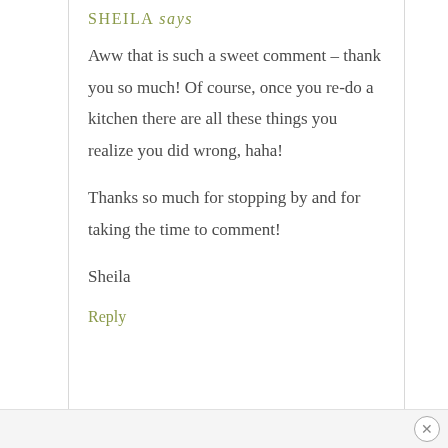SHEILA says
Aww that is such a sweet comment – thank you so much! Of course, once you re-do a kitchen there are all these things you realize you did wrong, haha!

Thanks so much for stopping by and for taking the time to comment!

Sheila
Reply